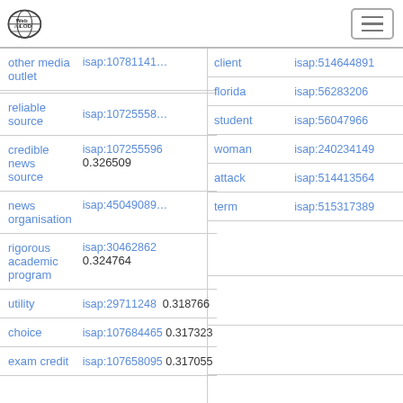Web ISA LOD [logo] [menu]
| term | id | score | term | id |
| --- | --- | --- | --- | --- |
| other media outlet | isap:10781141… |  | client | isap:514644891 |
|  |  |  | florida | isap:56283206 |
| reliable source | isap:10725558… |  | student | isap:56047966 |
| credible news source | isap:107255596 | 0.326509 | woman | isap:240234149 |
| news organisation | isap:45049089… |  | attack | isap:514413564 |
|  |  |  | term | isap:515317389 |
| rigorous academic program | isap:30462862 | 0.324764 |  |  |
| utility | isap:29711248 | 0.318766 |  |  |
| choice | isap:107684465 | 0.317323 |  |  |
| exam credit | isap:107658095 | 0.317055 |  |  |